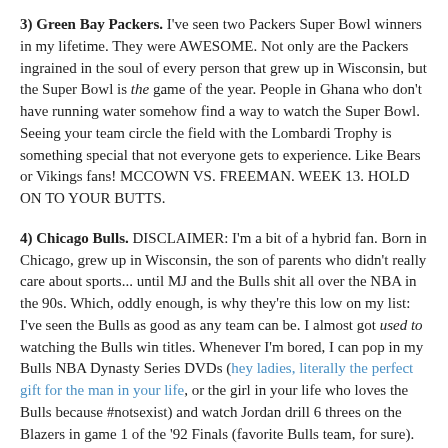3) Green Bay Packers. I've seen two Packers Super Bowl winners in my lifetime. They were AWESOME. Not only are the Packers ingrained in the soul of every person that grew up in Wisconsin, but the Super Bowl is the game of the year. People in Ghana who don't have running water somehow find a way to watch the Super Bowl. Seeing your team circle the field with the Lombardi Trophy is something special that not everyone gets to experience. Like Bears or Vikings fans! MCCOWN VS. FREEMAN. WEEK 13. HOLD ON TO YOUR BUTTS.
4) Chicago Bulls. DISCLAIMER: I'm a bit of a hybrid fan. Born in Chicago, grew up in Wisconsin, the son of parents who didn't really care about sports... until MJ and the Bulls shit all over the NBA in the 90s. Which, oddly enough, is why they're this low on my list: I've seen the Bulls as good as any team can be. I almost got used to watching the Bulls win titles. Whenever I'm bored, I can pop in my Bulls NBA Dynasty Series DVDs (hey ladies, literally the perfect gift for the man in your life, or the girl in your life who loves the Bulls because #notsexist) and watch Jordan drill 6 threes on the Blazers in game 1 of the '92 Finals (favorite Bulls team, for sure).